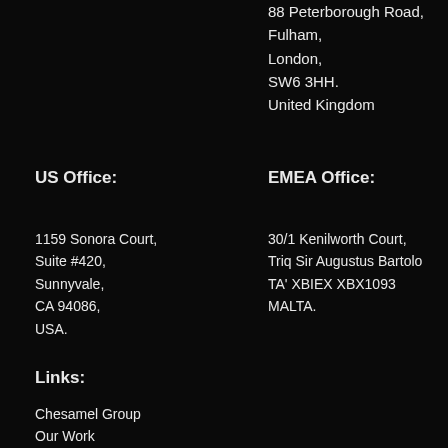88 Peterborough Road,
Fulham,
London,
SW6 3HH.
United Kingdom
US Office:
1159 Sonora Court,
Suite #420,
Sunnyvale,
CA 94086,
USA.
EMEA Office:
30/1 Kenilworth Court,
Triq Sir Augustus Bartolo
TA' XBIEX XBX1093
MALTA.
Links:
Chesamel Group
Our Work